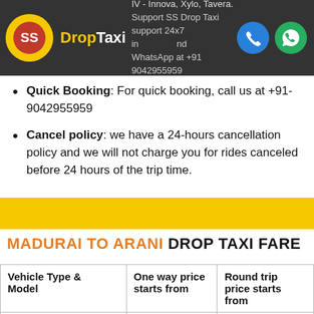SS DropTaxi — IV - Innova, Xylo, Tavera. Support SS Drop Taxi support 24x7 in WhatsApp at +91 9042955959
Quick Booking: For quick booking, call us at +91-9042955959
Cancel policy: we have a 24-hours cancellation policy and we will not charge you for rides canceled before 24 hours of the trip time.
MADURAI TO ARANI DROP TAXI FARE
| Vehicle Type & Model | One way price starts from | Round trip price starts from |
| --- | --- | --- |
| SEDAN - ETIOS, SWIFT, ZEST, XCENT | ₹ 5,305*, 13/KM | ₹ 9,540*, 12/KM |